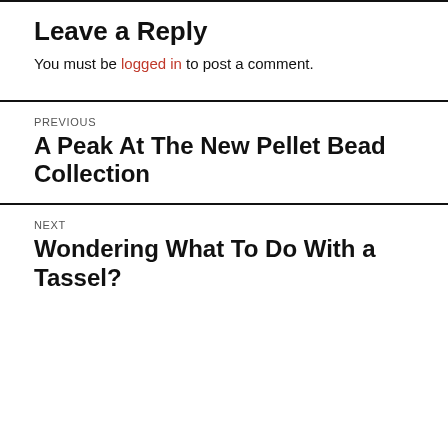Leave a Reply
You must be logged in to post a comment.
PREVIOUS
A Peak At The New Pellet Bead Collection
NEXT
Wondering What To Do With a Tassel?